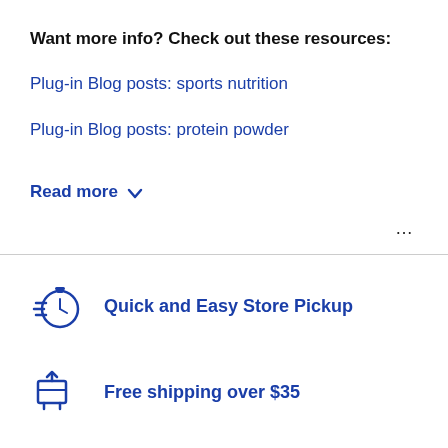Want more info? Check out these resources:
Plug-in Blog posts: sports nutrition
Plug-in Blog posts: protein powder
...
Read more
[Figure (illustration): Quick and Easy Store Pickup icon - a stopwatch/timer with horizontal lines on the left side, in blue]
Quick and Easy Store Pickup
[Figure (illustration): Free shipping over $35 icon - a delivery truck/box icon in blue]
Free shipping over $35